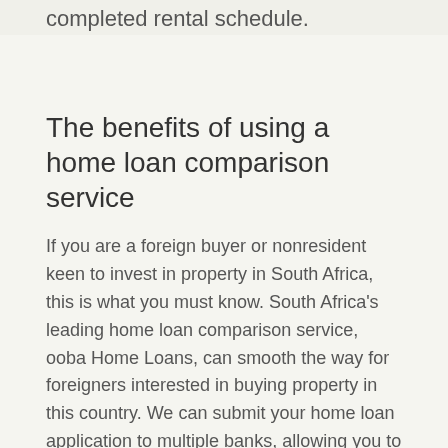completed rental schedule.
The benefits of using a home loan comparison service
If you are a foreign buyer or nonresident keen to invest in property in South Africa, this is what you must know. South Africa's leading home loan comparison service, ooba Home Loans, can smooth the way for foreigners interested in buying property in this country. We can submit your home loan application to multiple banks, allowing you to compare deals and choose the package with the lowest interest rate.
We also offer a range of tools that make the home buying process easier. Start with our Bond Calculator, then use our Bond Indicator to determine what you